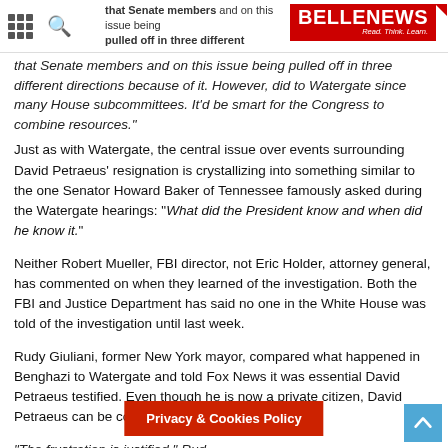BELLE NEWS – Read. Think. Learn.
that Senate members and on this issue being pulled off in three different directions because of it. However, did to investigate since many House subcommittees. It'd be smart for the Congress to combine resources."
Just as with Watergate, the central issue over events surrounding David Petraeus' resignation is crystallizing into something similar to the one Senator Howard Baker of Tennessee famously asked during the Watergate hearings: "What did the President know and when did he know it."
Neither Robert Mueller, FBI director, not Eric Holder, attorney general, has commented on when they learned of the investigation. Both the FBI and Justice Department has said no one in the White House was told of the investigation until last week.
Rudy Giuliani, former New York mayor, compared what happened in Benghazi to Watergate and told Fox News it was essential David Petraeus testified. Even though he is now a private citizen, David Petraeus can be compelled to appear.
"The frustration is justified," Rud